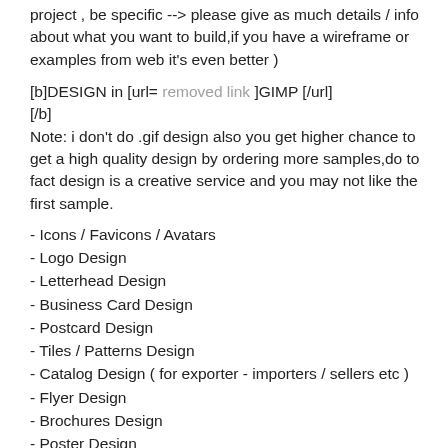project , be specific --> please give as much details / info about what you want to build,if you have a wireframe or examples from web it's even better )
[b]DESIGN in [url= removed link ]GIMP [/url] [/b]
Note: i don't do .gif design also you get higher chance to get a high quality design by ordering more samples,do to fact design is a creative service and you may not like the first sample.
- Icons / Favicons / Avatars
- Logo Design
- Letterhead Design
- Business Card Design
- Postcard Design
- Tiles / Patterns Design
- Catalog Design ( for exporter - importers / sellers etc )
- Flyer Design
- Brochures Design
- Poster Design
- Diploma / Certificate Design
- Id / Tickets / Loyalty Cards Design
- Product Label Design
- Wedding Invitation / Food & Drinks Menu Design
- Web Design